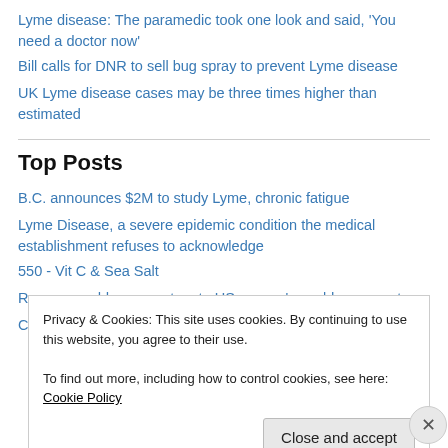Lyme disease: The paramedic took one look and said, 'You need a doctor now'
Bill calls for DNR to sell bug spray to prevent Lyme disease
UK Lyme disease cases may be three times higher than estimated
Top Posts
B.C. announces $2M to study Lyme, chronic fatigue
Lyme Disease, a severe epidemic condition the medical establishment refuses to acknowledge
550 - Vit C & Sea Salt
Rampone adds a new story to US women's world cup quest
Commentary: The undead: they're out there
Privacy & Cookies: This site uses cookies. By continuing to use this website, you agree to their use.
To find out more, including how to control cookies, see here: Cookie Policy
Close and accept